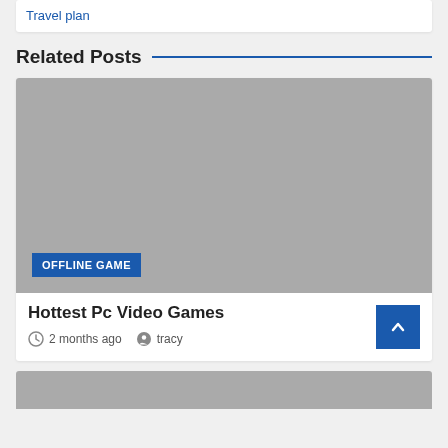Travel plan
Related Posts
[Figure (screenshot): Gray placeholder image for a blog post with a blue 'OFFLINE GAME' badge in the lower left corner]
Hottest Pc Video Games
2 months ago  tracy
[Figure (screenshot): Gray placeholder image for a second blog post, partially visible at the bottom]